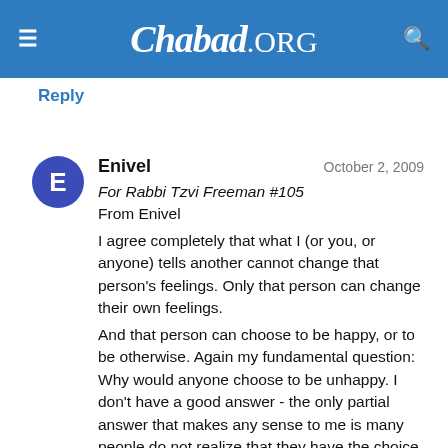Chabad.ORG
Reply
Enivel
October 2, 2009
For Rabbi Tzvi Freeman #105
From Enivel
I agree completely that what I (or you, or anyone) tells another cannot change that person's feelings. Only that person can change their own feelings.
And that person can choose to be happy, or to be otherwise. Again my fundamental question: Why would anyone choose to be unhappy. I don't have a good answer - the only partial answer that makes any sense to me is many people do not realize that they have the choice to be happy.